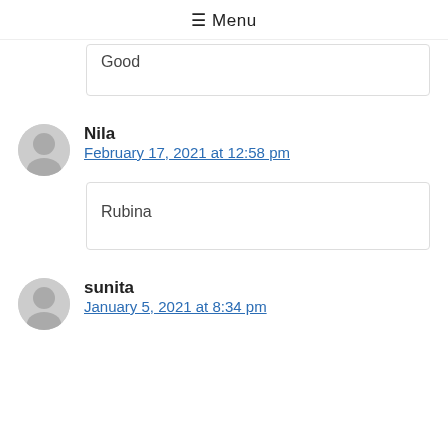≡ Menu
Good
Nila
February 17, 2021 at 12:58 pm
Rubina
sunita
January 5, 2021 at 8:34 pm